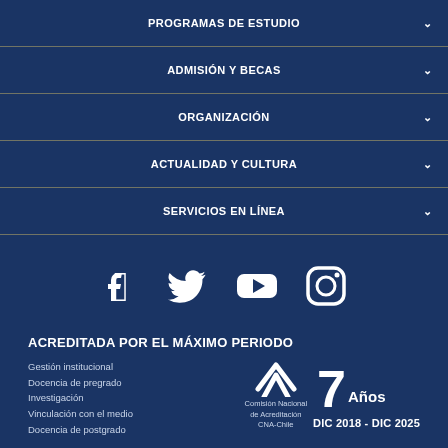PROGRAMAS DE ESTUDIO
ADMISIÓN Y BECAS
ORGANIZACIÓN
ACTUALIDAD Y CULTURA
SERVICIOS EN LÍNEA
[Figure (infographic): Social media icons: Facebook, Twitter, YouTube, Instagram in white on dark blue background]
ACREDITADA POR EL MÁXIMO PERIODO
Gestión institucional
Docencia de pregrado
Investigación
Vinculación con el medio
Docencia de postgrado
[Figure (logo): Comisión Nacional de Acreditación CNA-Chile logo with 7 Años and DIC 2018 - DIC 2025]